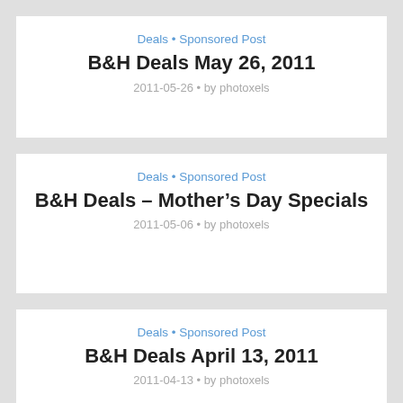B&H Deals May 26, 2011
Deals • Sponsored Post
2011-05-26 • by photoxels
B&H Deals – Mother's Day Specials
Deals • Sponsored Post
2011-05-06 • by photoxels
B&H Deals April 13, 2011
Deals • Sponsored Post
2011-04-13 • by photoxels